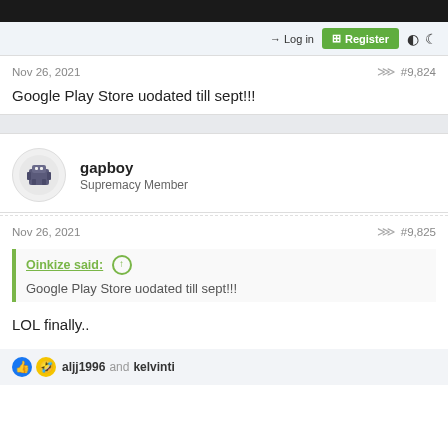Log in  Register
Nov 26, 2021  #9,824
Google Play Store uodated till sept!!!
gapboy
Supremacy Member
Nov 26, 2021  #9,825
Oinkize said:
Google Play Store uodated till sept!!!
LOL finally..
aljj1996 and kelvinti